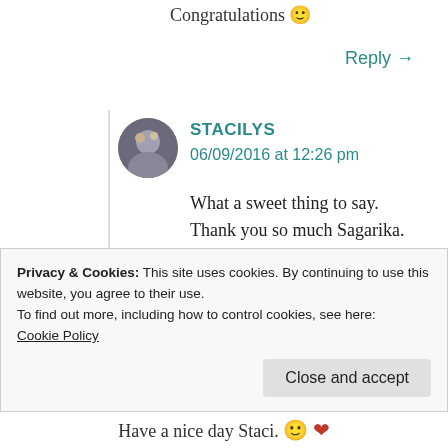Congratulations 🙂
Reply →
STACILYS
06/09/2016 at 12:26 pm
What a sweet thing to say. Thank you so much Sagarika.
Please have a lovely day.
🙂 ❤
Reply
Privacy & Cookies: This site uses cookies. By continuing to use this website, you agree to their use.
To find out more, including how to control cookies, see here:
Cookie Policy
Close and accept
Have a nice day Staci. 🙂 ❤